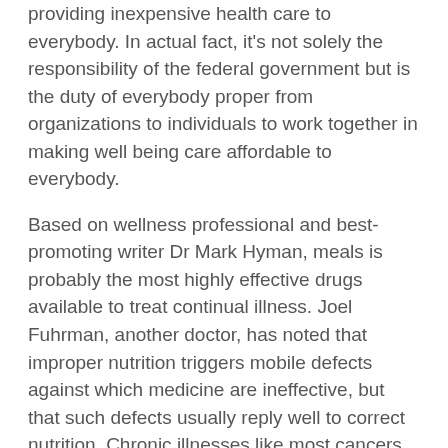providing inexpensive health care to everybody. In actual fact, it's not solely the responsibility of the federal government but is the duty of everybody proper from organizations to individuals to work together in making well being care affordable to everybody.
Based on wellness professional and best-promoting writer Dr Mark Hyman, meals is probably the most highly effective drugs available to treat continual illness. Joel Fuhrman, another doctor, has noted that improper nutrition triggers mobile defects against which medicine are ineffective, but that such defects usually reply well to correct nutrition. Chronic illnesses like most cancers, kind II diabetes and hypertension have robust dietary links, and could be reversed through food regimen alone. Medical college students as we speak are studying a little about the link between vitamin and disease. However, virtually 2500 years after Greek physician Hippocrates uttered the statement quoted above, the medical establishment in the West is but to include